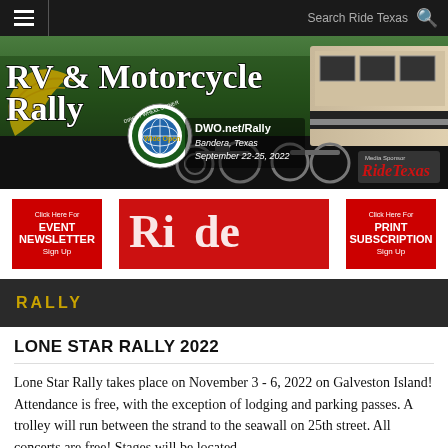Search Ride Texas
[Figure (photo): RV & Motorcycle Rally banner image with motorcycles, RV trailer, trees, and 'Ride Texas' media sponsor logo. Text overlay: 'RV & Motorcycle Rally', 'DWO.net/Rally', 'Bandera, Texas', 'September 22-25, 2022']
[Figure (infographic): Two red call-to-action buttons: 'Click Here For EVENT NEWSLETTER Sign Up' on the left and 'Click Here For PRINT SUBSCRIPTION Sign Up' on the right, with a partial red banner logo in the center]
RALLY
LONE STAR RALLY 2022
Lone Star Rally takes place on November 3 - 6, 2022 on Galveston Island! Attendance is free, with the exception of lodging and parking passes. A trolley will run between the strand to the seawall on 25th street. All concerts are free! Stages will be located